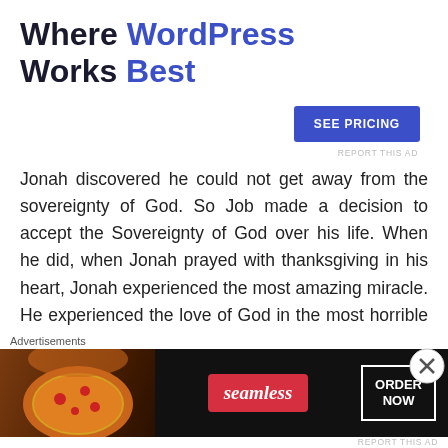[Figure (infographic): WordPress advertisement banner with text 'Where WordPress Works Best' and a 'SEE PRICING' button]
Jonah discovered he could not get away from the sovereignty of God. So Job made a decision to accept the Sovereignty of God over his life. When he did, when Jonah prayed with thanksgiving in his heart, Jonah experienced the most amazing miracle. He experienced the love of God in the most horrible of circumstances.
B. Sacrifice with Thanksgiving (todah)
[Figure (infographic): Seamless food delivery advertisement with pizza image, Seamless logo, and ORDER NOW button]